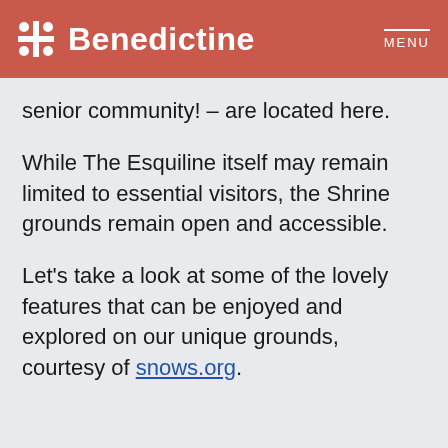Benedictine MENU
senior community! – are located here.
While The Esquiline itself may remain limited to essential visitors, the Shrine grounds remain open and accessible.
Let's take a look at some of the lovely features that can be enjoyed and explored on our unique grounds, courtesy of snows.org.